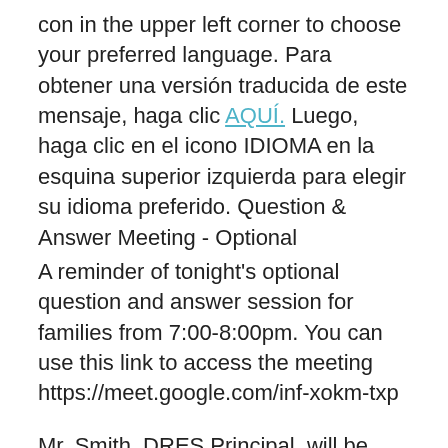con in the upper left corner to choose your preferred language. Para obtener una versión traducida de este mensaje, haga clic AQUÍ. Luego, haga clic en el icono IDIOMA en la esquina superior izquierda para elegir su idioma preferido. Question & Answer Meeting - Optional
A reminder of tonight's optional question and answer session for families from 7:00-8:00pm. You can use this link to access the meeting https://meet.google.com/inf-xokm-txp
Mr. Smith, DRES Principal, will be available for questions as we prepare to start the 22-23 school year.